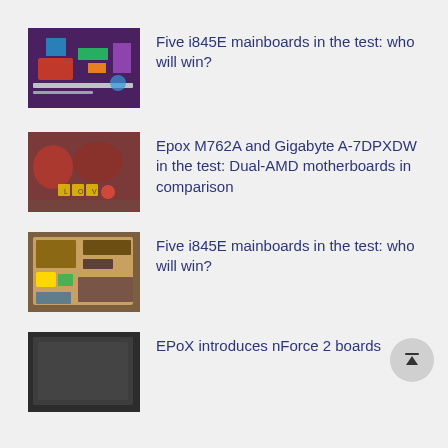Five i845E mainboards in the test: who will win?
Epox M762A and Gigabyte A-7DPXDW in the test: Dual-AMD motherboards in comparison
Five i845E mainboards in the test: who will win?
EPoX introduces nForce 2 boards